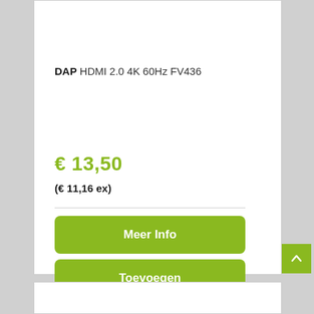[Figure (photo): Product photo of a black HDMI cable coiled, partially visible at top]
DAP HDMI 2.0 4K 60Hz FV436
€ 13,50
(€ 11,16 ex)
Meer Info
Toevoegen